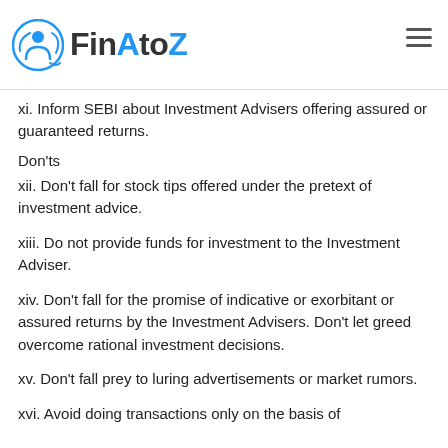FinAtoZ
xi. Inform SEBI about Investment Advisers offering assured or guaranteed returns.
Don'ts
xii. Don’t fall for stock tips offered under the pretext of investment advice.
xiii. Do not provide funds for investment to the Investment Adviser.
xiv. Don’t fall for the promise of indicative or exorbitant or assured returns by the Investment Advisers. Don’t let greed overcome rational investment decisions.
xv. Don’t fall prey to luring advertisements or market rumors.
xvi. Avoid doing transactions only on the basis of